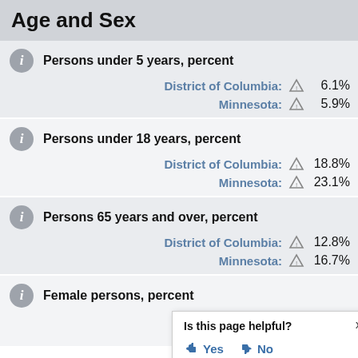Age and Sex
Persons under 5 years, percent
District of Columbia: 6.1%
Minnesota: 5.9%
Persons under 18 years, percent
District of Columbia: 18.8%
Minnesota: 23.1%
Persons 65 years and over, percent
District of Columbia: 12.8%
Minnesota: 16.7%
Female persons, percent
District of Columbia:
Is this page helpful? Yes No